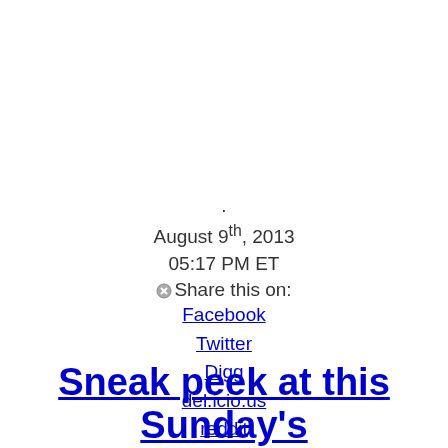.
August 9th, 2013
05:17 PM ET
Share this on:
Facebook
Twitter
Digg
del.icio.us
reddit
MySpace
StumbleUpon
Sneak peek at this Sunday's